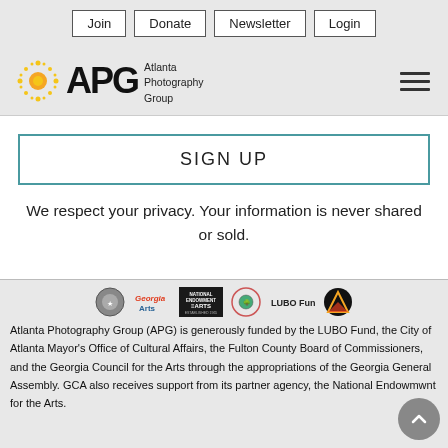Join | Donate | Newsletter | Login
[Figure (logo): Atlanta Photography Group (APG) logo with sunburst icon and hamburger menu icon]
SIGN UP
We respect your privacy. Your information is never shared or sold.
[Figure (logo): Row of sponsor logos: government seal, Georgia Arts, National Endowment for the Arts, Fulton County, LUBO Fund, and another logo]
Atlanta Photography Group (APG) is generously funded by the LUBO Fund, the City of Atlanta Mayor's Office of Cultural Affairs, the Fulton County Board of Commissioners, and the Georgia Council for the Arts through the appropriations of the Georgia General Assembly. GCA also receives support from its partner agency, the National Endowmwnt for the Arts.